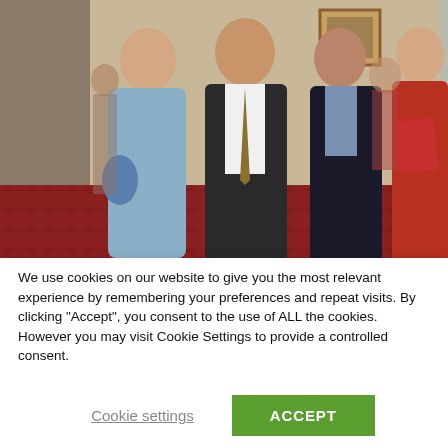[Figure (photo): Group photo of four people posing indoors in a formal setting. An older man in a dark suit with tie stands in the center. A woman in a light blue outfit stands to his left. A man in a dark suit stands to his right, and a woman in a red jacket holding a red book stands on the far right. The floor has a red patterned carpet.]
We use cookies on our website to give you the most relevant experience by remembering your preferences and repeat visits. By clicking “Accept”, you consent to the use of ALL the cookies. However you may visit Cookie Settings to provide a controlled consent.
Cookie settings
ACCEPT